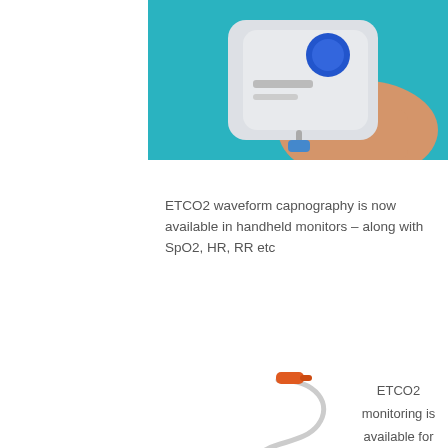[Figure (photo): A hand holding a handheld medical monitor device (white/grey, with a blue button), with a small tube/connector visible, against a teal/turquoise background.]
ETCO2 waveform capnography is now available in handheld monitors – along with SpO2, HR, RR etc
[Figure (photo): A nasal cannula / ETCO2 sampling line — clear tubing with an orange connector tip and a white rectangular filter/sampling piece at the end.]
ETCO2 monitoring is available for the Phillips Heartstart MRX